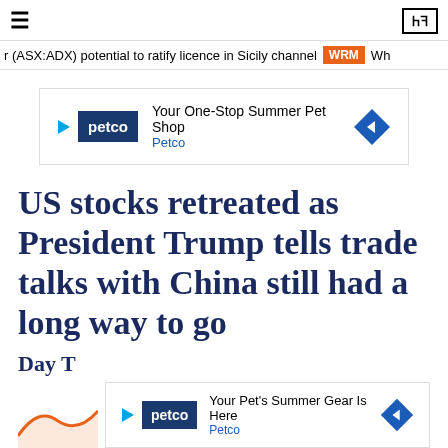≡   ЗШ
r (ASX:ADX) potential to ratify licence in Sicily channel   WRM   Wh
[Figure (advertisement): Petco advertisement: Your One-Stop Summer Pet Shop, Petco]
US stocks retreated as President Trump tells trade talks with China still had a long way to go
Day T
[Figure (advertisement): Petco advertisement: Your Pet's Summer Gear Is Here, Petco]